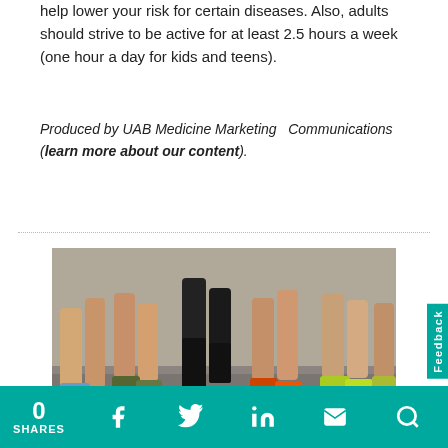help lower your risk for certain diseases. Also, adults should strive to be active for at least 2.5 hours a week (one hour a day for kids and teens).
Produced by UAB Medicine Marketing   Communications (learn more about our content).
[Figure (photo): Close-up photo of multiple runners' legs and feet in colorful running shoes on pavement during a race]
The holidays are over, and now it's training season for
0 SHARES  [Facebook] [Twitter] [LinkedIn] [Email] [Search]  Feedback